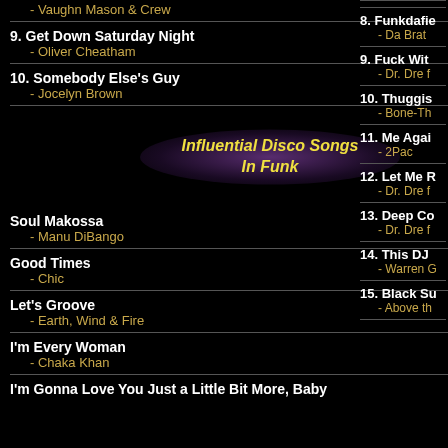- Vaughn Mason & Crew
9. Get Down Saturday Night
    - Oliver Cheatham
10. Somebody Else's Guy
    - Jocelyn Brown
[Figure (other): Purple glowing ellipse background with italic yellow bold text reading 'Influential Disco Songs In Funk']
Soul Makossa
    - Manu DiBango
Good Times
    - Chic
Let's Groove
    - Earth, Wind & Fire
I'm Every Woman
    - Chaka Khan
I'm Gonna Love You Just a Little Bit More, Baby
8. Funkdafie...
    - Da Brat
9. Fuck Wit...
    - Dr. Dre f...
10. Thuggis...
    - Bone-Th...
11. Me Agai...
    - 2Pac
12. Let Me R...
    - Dr. Dre f...
13. Deep Co...
    - Dr. Dre f...
14. This DJ...
    - Warren G...
15. Black Su...
    - Above th...